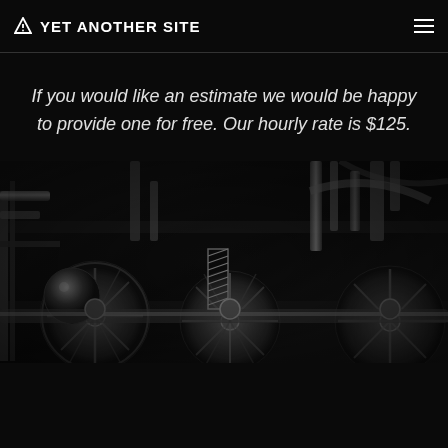YET ANOTHER SITE
If you would like an estimate we would be happy to provide one for free. Our hourly rate is $125.
[Figure (photo): Black and white HDR photograph of industrial steam locomotive machinery showing large wheels, pistons, pipes, springs and mechanical components in high detail]